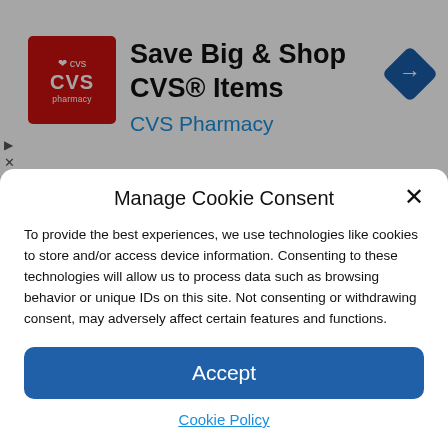[Figure (logo): CVS Pharmacy advertisement banner with red CVS logo, text 'Save Big & Shop CVS® Items' and 'CVS Pharmacy' in blue, and a blue navigation arrow icon on the right]
nthers. In return, Calgary acquired left winger Jonathan ... Read more
Manage Cookie Consent
To provide the best experiences, we use technologies like cookies to store and/or access device information. Consenting to these technologies will allow us to process data such as browsing behavior or unique IDs on this site. Not consenting or withdrawing consent, may adversely affect certain features and functions.
Accept
Cookie Policy